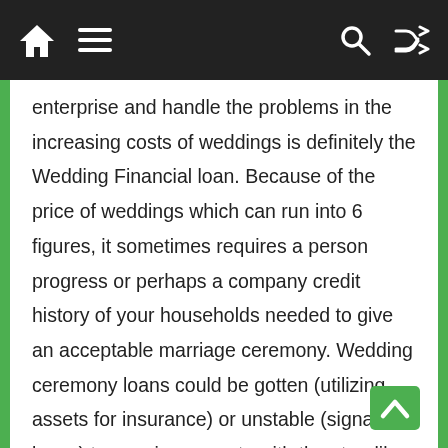Navigation bar with home, menu, search, and shuffle icons
enterprise and handle the problems in the increasing costs of weddings is definitely the Wedding Financial loan. Because of the price of weddings which can run into 6 figures, it sometimes requires a person progress or perhaps a company credit history of your households needed to give an acceptable marriage ceremony. Wedding ceremony loans could be gotten (utilizing assets for insurance) or unstable (signature loans) to acquire property with the steadily building have to purchase the raising marriage charges